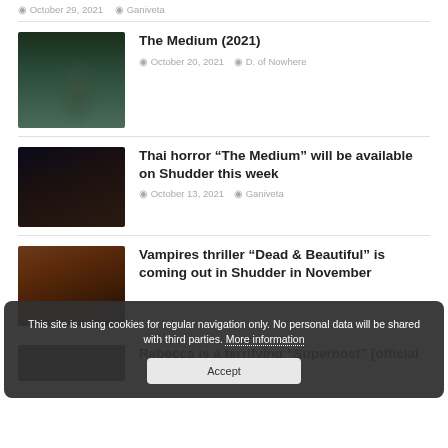October 29, 2021  Ganiveta
[Figure (photo): Movie poster for The Medium (2021) — person crouching in forest scene]
The Medium (2021)
October 20, 2021  D. of Nowhere
[Figure (photo): Dark horror scene from Thai horror film The Medium]
Thai horror “The Medium” will be available on Shudder this week
October 13, 2021  Ganiveta
[Figure (photo): Scene from Vampires thriller Dead & Beautiful]
Vampires thriller “Dead & Beautiful” is coming out in Shudder in November
[Figure (photo): Scene from Rebecca Superhost article]
Rebecca is a terrifying “Superhost” [official
This site is using cookies for regular navigation only. No personal data will be shared with third parties. More information
Accept